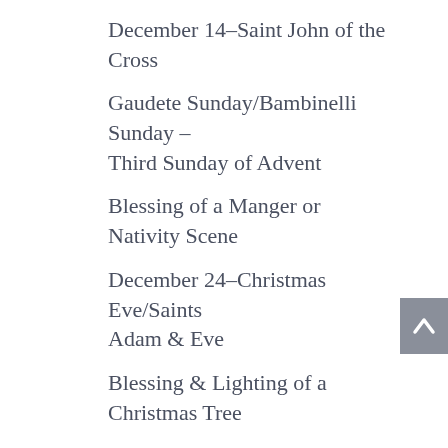December 14–Saint John of the Cross
Gaudete Sunday/Bambinelli Sunday – Third Sunday of Advent
Blessing of a Manger or Nativity Scene
December 24–Christmas Eve/Saints Adam & Eve
Blessing & Lighting of a Christmas Tree
Prayer Before Baby Jesus in the Manger
December 25–Christmas/the Nativity of the Lord
December 26–Saint Stephen
December 27–Saint John, Apostle &